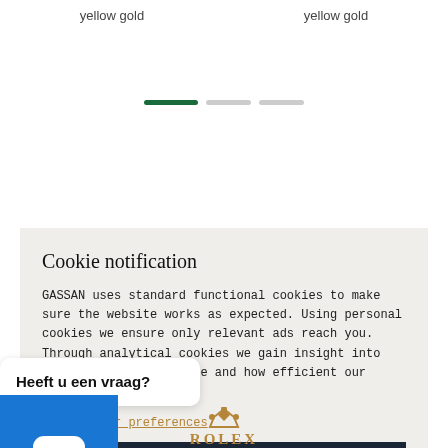yellow gold
yellow gold
[Figure (other): Carousel pagination indicator with three dots: one active (dark green), two inactive (light grey)]
Cookie notification
GASSAN uses standard functional cookies to make sure the website works as expected. Using personal cookies we ensure only relevant ads reach you. Through analytical cookies we gain insight into how you use our website and how efficient our marketing is
pecify your preferences
Heeft u een vraag?
ACCEPT ALL
[Figure (logo): Rolex crown logo and ROLEX text in gold color]